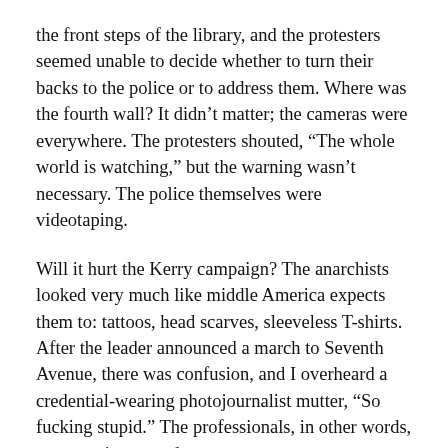the front steps of the library, and the protesters seemed unable to decide whether to turn their backs to the police or to address them. Where was the fourth wall? It didn't matter; the cameras were everywhere. The protesters shouted, “The whole world is watching,” but the warning wasn’t necessary. The police themselves were videotaping.
Will it hurt the Kerry campaign? The anarchists looked very much like middle America expects them to: tattoos, head scarves, sleeveless T-shirts. After the leader announced a march to Seventh Avenue, there was confusion, and I overheard a credential-wearing photojournalist mutter, “So fucking stupid.” The professionals, in other words, were not impressed.
And there wasn’t a lot of forethought on display. The protesters chose an extremely narrow gate for their exit. The police allowed them and the audience to file out. Then the police unrolled a ribbon of orange mesh